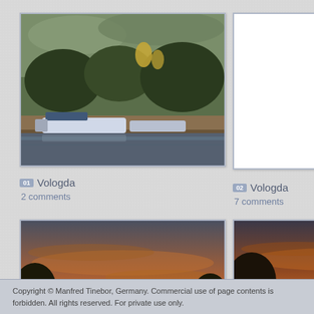[Figure (photo): Photo of a river with boats and a church/cathedral with golden domes visible through trees, Vologda]
01 Vologda
2 comments
[Figure (photo): Blank white placeholder image for Vologda photo 02]
02 Vologda
7 comments
[Figure (photo): Sunset photo with river reflection, silhouetted trees, orange sky, Vologda]
03 Vologda
[Figure (photo): Sunset photo with church silhouette and trees reflected in river, Vologda]
04 Vologda
3 comments
Copyright © Manfred Tinebor, Germany. Commercial use of page contents is forbidden. All rights reserved. For private use only.